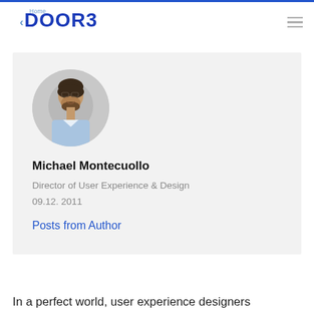Home | DOOR3
[Figure (photo): Circular profile photo of Michael Montecuollo, a man with dark hair and beard wearing a light blue shirt]
Michael Montecuollo
Director of User Experience & Design
09.12. 2011
Posts from Author
In a perfect world, user experience designers